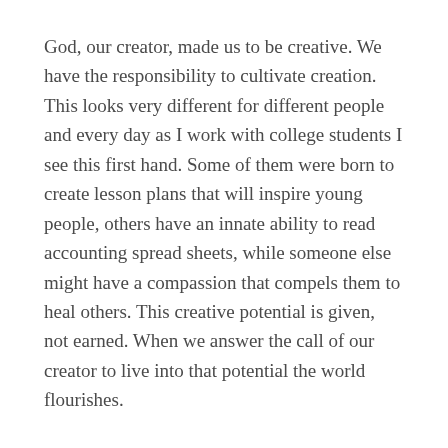God, our creator, made us to be creative. We have the responsibility to cultivate creation. This looks very different for different people and every day as I work with college students I see this first hand. Some of them were born to create lesson plans that will inspire young people, others have an innate ability to read accounting spread sheets, while someone else might have a compassion that compels them to heal others. This creative potential is given, not earned. When we answer the call of our creator to live into that potential the world flourishes.
This is the heart of our story as daughters and sons of God. We are called to enter every realm of this creation and bring the heart of Jesus with us to bless those around us. When we do our work with other